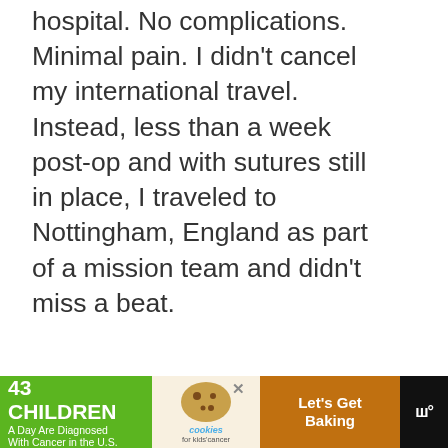hospital. No complications. Minimal pain. I didn't cancel my international travel. Instead, less than a week post-op and with sutures still in place, I traveled to Nottingham, England as part of a mission team and didn't miss a beat.
[Figure (other): Like button (heart icon) in blue circle, count 275, and share button below on right sidebar]
[Figure (screenshot): WHAT'S NEXT panel with avatar photo and text 'How To Pray Over...']
[Figure (other): Advertisement banner: '43 CHILDREN A Day Are Diagnosed With Cancer in the U.S.' with cookies for kids cancer and Let's Get Baking ad]